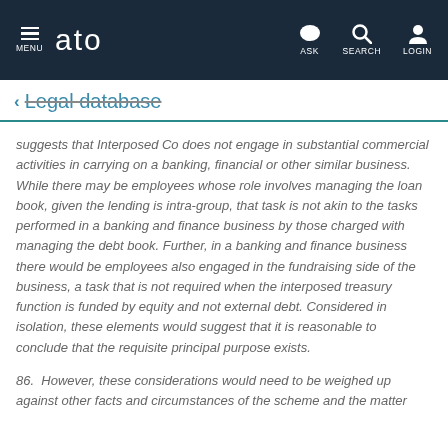MENU  ato  ASK  SEARCH  LOGIN
← Legal database
suggests that Interposed Co does not engage in substantial commercial activities in carrying on a banking, financial or other similar business. While there may be employees whose role involves managing the loan book, given the lending is intra-group, that task is not akin to the tasks performed in a banking and finance business by those charged with managing the debt book. Further, in a banking and finance business there would be employees also engaged in the fundraising side of the business, a task that is not required when the interposed treasury function is funded by equity and not external debt. Considered in isolation, these elements would suggest that it is reasonable to conclude that the requisite principal purpose exists.
86. However, these considerations would need to be weighed up against other facts and circumstances of the scheme and the matter